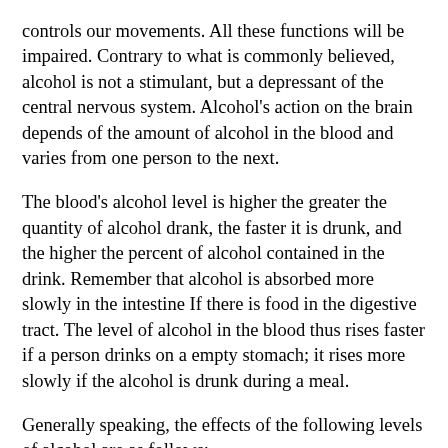controls our movements. All these functions will be impaired. Contrary to what is commonly believed, alcohol is not a stimulant, but a depressant of the central nervous system. Alcohol's action on the brain depends of the amount of alcohol in the blood and varies from one person to the next.
The blood's alcohol level is higher the greater the quantity of alcohol drank, the faster it is drunk, and the higher the percent of alcohol contained in the drink. Remember that alcohol is absorbed more slowly in the intestine If there is food in the digestive tract. The level of alcohol in the blood thus rises faster if a person drinks on a empty stomach; it rises more slowly if the alcohol is drunk during a meal.
Generally speaking, the effects of the following levels of alcohol are as follows:
A. One-half to two grammes of alcohol per liter of blood
0,5 grammes of alcohol per liter of blood produces that feeling of well-being, of glibness,